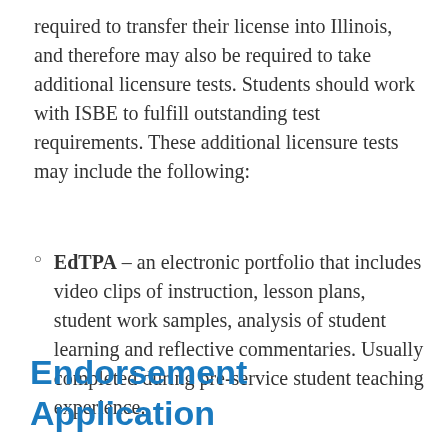required to transfer their license into Illinois, and therefore may also be required to take additional licensure tests. Students should work with ISBE to fulfill outstanding test requirements. These additional licensure tests may include the following:
EdTPA – an electronic portfolio that includes video clips of instruction, lesson plans, student work samples, analysis of student learning and reflective commentaries. Usually completed during pre-service student teaching experience.
Endorsement Application